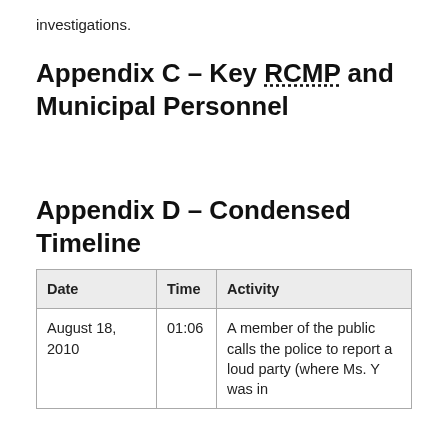investigations.
Appendix C – Key RCMP and Municipal Personnel
Appendix D – Condensed Timeline
| Date | Time | Activity |
| --- | --- | --- |
| August 18, 2010 | 01:06 | A member of the public calls the police to report a loud party (where Ms. Y was in |